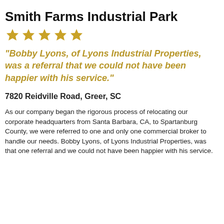Smith Farms Industrial Park
[Figure (other): Five gold star rating icons]
"Bobby Lyons, of Lyons Industrial Properties, was a referral that we could not have been happier with his service."
7820 Reidville Road, Greer, SC
As our company began the rigorous process of relocating our corporate headquarters from Santa Barbara, CA, to Spartanburg County, we were referred to one and only one commercial broker to handle our needs. Bobby Lyons, of Lyons Industrial Properties, was that one referral and we could not have been happier with his service.